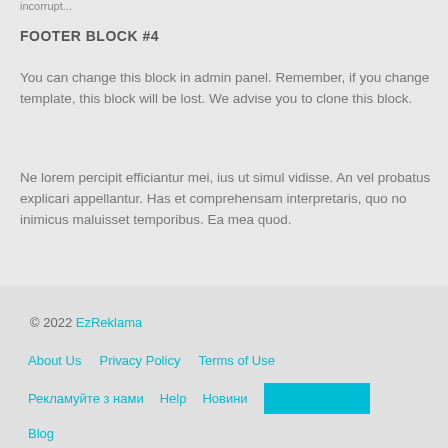incorrupt...
FOOTER BLOCK #4
You can change this block in admin panel. Remember, if you change template, this block will be lost. We advise you to clone this block.
Ne lorem percipit efficiantur mei, ius ut simul vidisse. An vel probatus explicari appellantur. Has et comprehensam interpretaris, quo no inimicus maluisset temporibus. Ea mea quod.
© 2022 EzReklama
About Us   Privacy Policy   Terms of Use
Рекламуйте з нами   Help   Новини   Всі рубрики
Blog